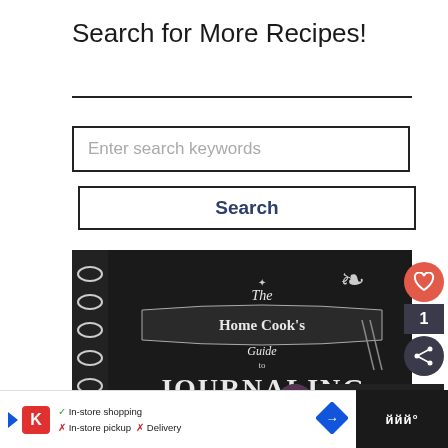Search for More Recipes!
Enter search keywords
Search
[Figure (photo): Book cover of 'The Home Cook's Guide to Journaling' by Paige Rhodes. Dark/black chalkboard style cover with ornate hand-lettered typography and spiral binding visible on the left side.]
WHAT'S NEXT → Blackberries and Thyme...
In-store shopping  In-store pickup  Delivery